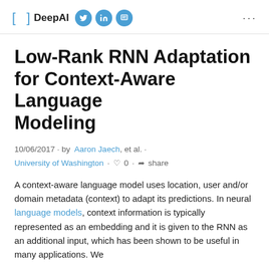[ ] DeepAI
Low-Rank RNN Adaptation for Context-Aware Language Modeling
10/06/2017 · by Aaron Jaech, et al. · University of Washington · ♡ 0 · share
A context-aware language model uses location, user and/or domain metadata (context) to adapt its predictions. In neural language models, context information is typically represented as an embedding and it is given to the RNN as an additional input, which has been shown to be useful in many applications. We